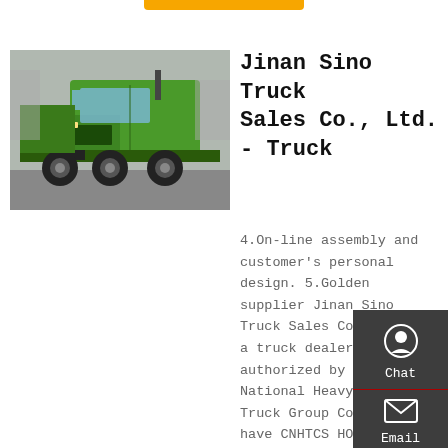[Figure (photo): Green HOWO dump truck photographed outdoors]
Jinan Sino Truck Sales Co., Ltd. - Truck
4.On-line assembly and customer's personal design. 5.Golden supplier Jinan Sino Truck Sales Co., Ltd. is a truck dealer authorized by China National Heavy Duty Truck Group Co., Ltd. We have CNHTCS HOWO 7, HOWO